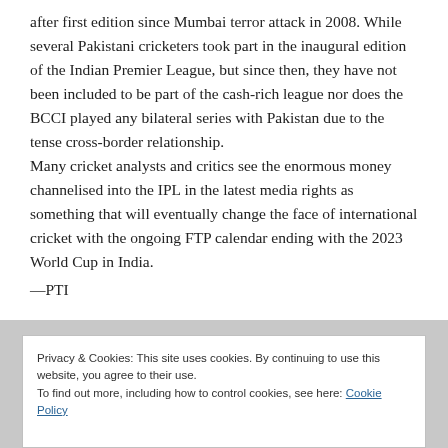after first edition since Mumbai terror attack in 2008. While several Pakistani cricketers took part in the inaugural edition of the Indian Premier League, but since then, they have not been included to be part of the cash-rich league nor does the BCCI played any bilateral series with Pakistan due to the tense cross-border relationship.
Many cricket analysts and critics see the enormous money channelised into the IPL in the latest media rights as something that will eventually change the face of international cricket with the ongoing FTP calendar ending with the 2023 World Cup in India.
—PTI
Privacy & Cookies: This site uses cookies. By continuing to use this website, you agree to their use.
To find out more, including how to control cookies, see here: Cookie Policy
Close and accept